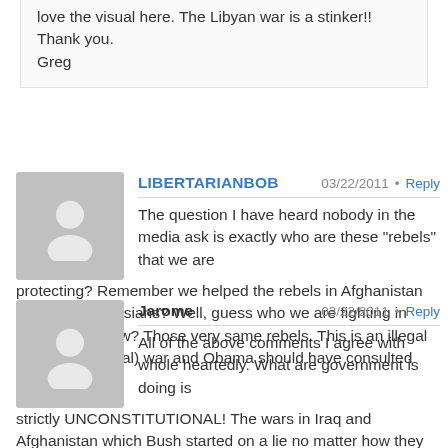love the visual here. The Libyan war is a stinker!! Thank you.
Greg
LIBERTARIANBOB  03/22/2011  Reply
The question I have heard nobody in the media ask is exactly who are these „rebels“ that we are protecting? Remember we helped the rebels in Afghanistan against the Russians? Well, guess who we are fighting in Afghanistan now? Those very same rebels. This is an illegal (un-constitutional) war and Obama should have consulted with congress.
Jarome  03/22/2011  Reply
All of the above comments I agree with whole heartedly. What are government is doing is strictly UNCONSTITUTIONAL! The wars in Iraq and Afghanistan which Bush started on a lie no matter how they or people spin it